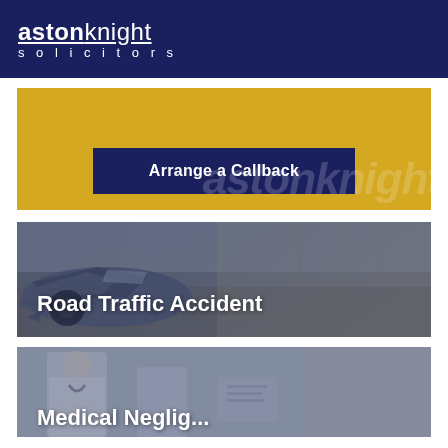aston knight solicitors
[Figure (screenshot): Yellow callback section with dark navy 'Arrange a Callback' button and aston knight watermark]
[Figure (photo): Road Traffic Accident card with crashed car photo and white bold text]
[Figure (photo): Medical Negligence card with medical professional photo (partially visible)]